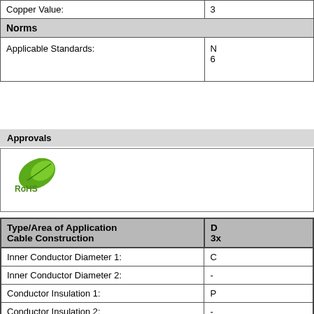|  |  |
| --- | --- |
| Copper Value: | 3... |
| Norms |  |
| Applicable Standards: | N...
6... |
Approvals
[Figure (logo): RoHS green logo with leaf]
| Type/Area of Application / Cable Construction | D... / 3x... |
| --- | --- |
| Inner Conductor Diameter 1: | C... |
| Inner Conductor Diameter 2: | - |
| Conductor Insulation 1: | P... |
| Conductor Insulation 2: | - |
| Conductor Colors 1: | w...
ye... |
| Conductor Colors 2: | - |
| Stranding Element: | D... |
| Shielding 1: | P...
bu... |
| Shielding 2: | - |
| Total Shielding: | C... |